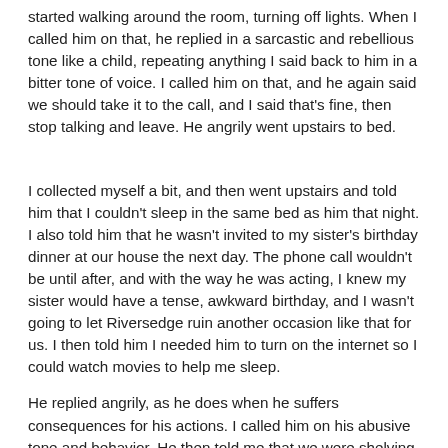started walking around the room, turning off lights. When I called him on that, he replied in a sarcastic and rebellious tone like a child, repeating anything I said back to him in a bitter tone of voice. I called him on that, and he again said we should take it to the call, and I said that's fine, then stop talking and leave. He angrily went upstairs to bed.
I collected myself a bit, and then went upstairs and told him that I couldn't sleep in the same bed as him that night. I also told him that he wasn't invited to my sister's birthday dinner at our house the next day. The phone call wouldn't be until after, and with the way he was acting, I knew my sister would have a tense, awkward birthday, and I wasn't going to let Riversedge ruin another occasion like that for us. I then told him I needed him to turn on the internet so I could watch movies to help me sleep.
He replied angrily, as he does when he suffers consequences for his actions. I called him on his abusive tone and behavior. He then told me that we were shelving it until the call. In other words, "I can commit an abusive drive-by, but you can't do anything about it because I said we were saving it for the call." I